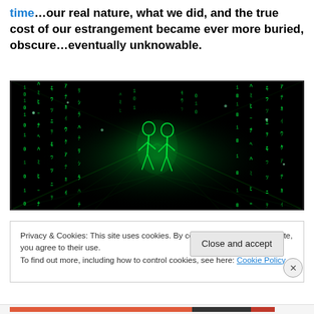time…our real nature, what we did, and the true cost of our estrangement became ever more buried, obscure…eventually unknowable.
[Figure (photo): A Matrix-style movie still showing green digital rain code cascading down in a dark corridor with two glowing green humanoid figures visible in the center background.]
Privacy & Cookies: This site uses cookies. By continuing to use this website, you agree to their use. To find out more, including how to control cookies, see here: Cookie Policy